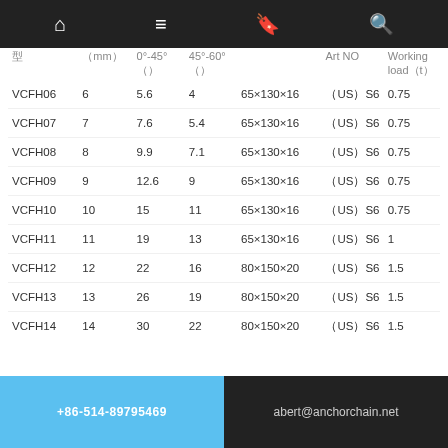home menu bookmark search
| 型 | （mm） | 0°-45°（） | 45°-60°（） |  | Art NO | Working load（t） |
| --- | --- | --- | --- | --- | --- | --- |
| VCFH06 | 6 | 5.6 | 4 | 65×130×16 | （US）S6 | 0.75 |
| VCFH07 | 7 | 7.6 | 5.4 | 65×130×16 | （US）S6 | 0.75 |
| VCFH08 | 8 | 9.9 | 7.1 | 65×130×16 | （US）S6 | 0.75 |
| VCFH09 | 9 | 12.6 | 9 | 65×130×16 | （US）S6 | 0.75 |
| VCFH10 | 10 | 15 | 11 | 65×130×16 | （US）S6 | 0.75 |
| VCFH11 | 11 | 19 | 13 | 65×130×16 | （US）S6 | 1 |
| VCFH12 | 12 | 22 | 16 | 80×150×20 | （US）S6 | 1.5 |
| VCFH13 | 13 | 26 | 19 | 80×150×20 | （US）S6 | 1.5 |
| VCFH14 | 14 | 30 | 22 | 80×150×20 | （US）S6 | 1.5 |
+86-514-89795469   abert@anchorchain.net